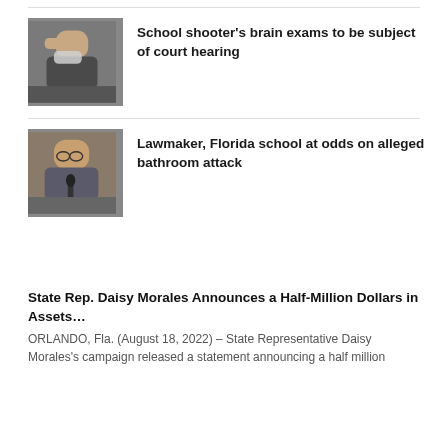[Figure (photo): Person with hand on head wearing a mask, seated]
School shooter's brain exams to be subject of court hearing
[Figure (photo): Man speaking at a microphone, wearing glasses]
Lawmaker, Florida school at odds on alleged bathroom attack
State Rep. Daisy Morales Announces a Half-Million Dollars in Assets…
ORLANDO, Fla. (August 18, 2022) – State Representative Daisy Morales's campaign released a statement announcing a half million